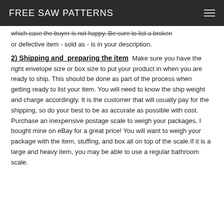FREE SAW PATTERNS
which case the buyer is not happy. Be sure to list a broken or defective item - sold as - is in your description.
2) Shipping and preparing the item  Make sure you have the right envelope size or box size to put your product in when you are ready to ship. This should be done as part of the process when getting ready to list your item. You will need to know the ship weight and charge accordingly. It is the customer that will usually pay for the shipping, so do your best to be as accurate as possible with cost.  Purchase an inexpensive postage scale to weigh your packages. I bought mine on eBay for a great price! You will want to weigh your package with the item, stuffing, and box all on top of the scale.If it is a large and heavy item, you may be able to use a regular bathroom scale.